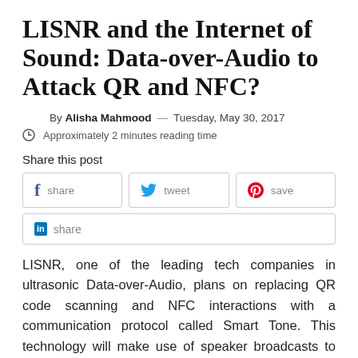LISNR and the Internet of Sound: Data-over-Audio to Attack QR and NFC?
By Alisha Mahmood — Tuesday, May 30, 2017
Approximately 2 minutes reading time
Share this post
share | tweet | save | share
LISNR, one of the leading tech companies in ultrasonic Data-over-Audio, plans on replacing QR code scanning and NFC interactions with a communication protocol called Smart Tone. This technology will make use of speaker broadcasts to devices with an active microphone. The receiving device sends back tone to your